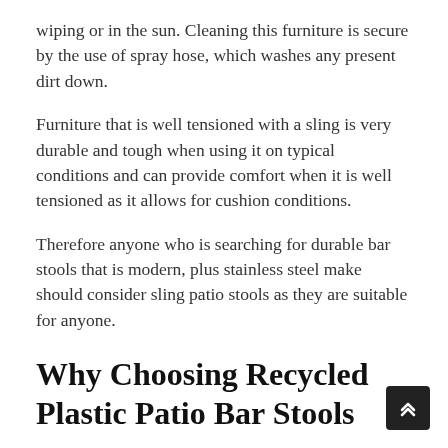wiping or in the sun. Cleaning this furniture is secure by the use of spray hose, which washes any present dirt down.
Furniture that is well tensioned with a sling is very durable and tough when using it on typical conditions and can provide comfort when it is well tensioned as it allows for cushion conditions.
Therefore anyone who is searching for durable bar stools that is modern, plus stainless steel make should consider sling patio stools as they are suitable for anyone.
Why Choosing Recycled Plastic Patio Bar Stools
There are advantages possessed by plastic patio bar stools that one will consider buying as the benefits are associated with good quality and their costs. Most plastic patio bar